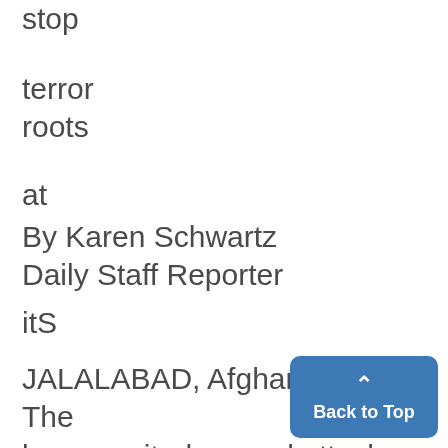stop
terror
roots
at
By Karen Schwartz
Daily Staff Reporter
itS
JALALABAD, Afghanistan - The long-awaited ground attack on ed terrorist hide-outs in northe